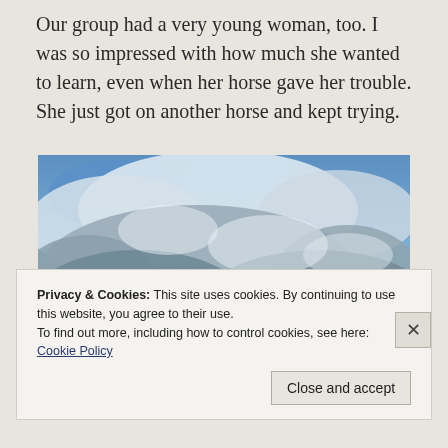Our group had a very young woman, too. I was so impressed with how much she wanted to learn, even when her horse gave her trouble. She just got on another horse and kept trying.
[Figure (photo): A dramatic sky photo with blue patches visible through large grey and white clouds.]
Privacy & Cookies: This site uses cookies. By continuing to use this website, you agree to their use.
To find out more, including how to control cookies, see here:
Cookie Policy
Close and accept